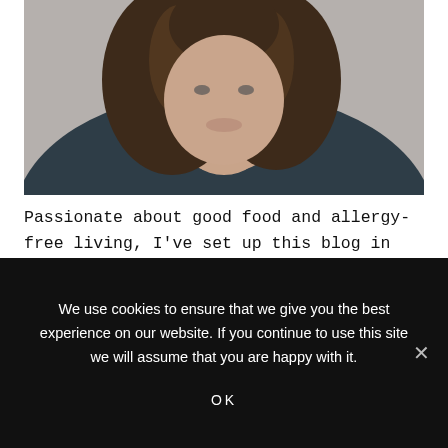[Figure (photo): Portrait photograph of a woman with long wavy dark brown hair, wearing a dark navy ribbed sweater, photographed against a grey background, cropped to show face, hair, and upper body from the waist up.]
Passionate about good food and allergy-free living, I've set up this blog in order to help people who, like me, found themselves stuck in a situation where they didn't know what to do, or how to cope. I've also written cookbooks which have been published in the
We use cookies to ensure that we give you the best experience on our website. If you continue to use this site we will assume that you are happy with it.

OK